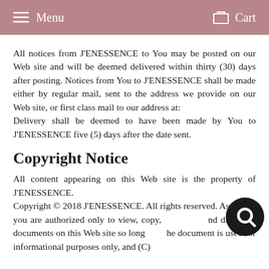Menu   Cart
All notices from J'ENESSENCE to You may be posted on our Web site and will be deemed delivered within thirty (30) days after posting. Notices from You to J'ENESSENCE shall be made either by regular mail, sent to the address we provide on our Web site, or first class mail to our address at:
Delivery shall be deemed to have been made by You to J'ENESSENCE five (5) days after the date sent.
Copyright Notice
All content appearing on this Web site is the property of J'ENESSENCE.
Copyright © 2018 J'ENESSENCE. All rights reserved. As a user, you are authorized only to view, copy, and distribute documents on this Web site so long as the document is used for informational purposes only, and (C) ...